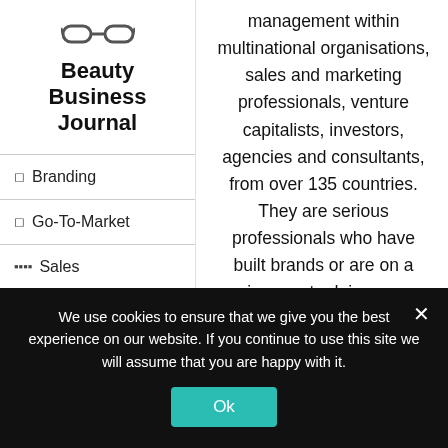[Figure (logo): Glasses icon logo for Beauty Business Journal]
Beauty Business Journal
Branding
Go-To-Market
Sales
Financials
Campaigns
management within multinational organisations, sales and marketing professionals, venture capitalists, investors, agencies and consultants, from over 135 countries. They are serious professionals who have built brands or are on a journey to doing so.
Inside, you'll have access to the resources and community you
We use cookies to ensure that we give you the best experience on our website. If you continue to use this site we will assume that you are happy with it.